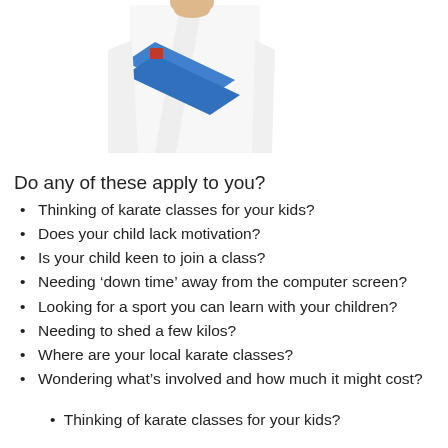[Figure (photo): Two people in white karate gi uniforms. Left figure wears a blue belt, right figure wears an orange belt.]
Do any of these apply to you?
Thinking of karate classes for your kids?
Does your child lack motivation?
Is your child keen to join a class?
Needing ‘down time’ away from the computer screen?
Looking for a sport you can learn with your children?
Needing to shed a few kilos?
Where are your local karate classes?
Wondering what’s involved and how much it might cost?